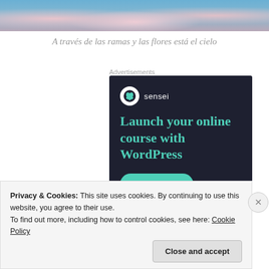[Figure (photo): Cherry blossom tree branches with pink flowers against a blue sky, shown as a cropped strip at the top of the page]
A través de las ramas y las flores está el cielo
Advertisements
[Figure (illustration): Sensei advertisement banner with dark background. Shows Sensei logo (bonsai tree in circle) and tagline 'Launch your online course with WordPress' in teal text, with a 'Learn More' teal button.]
Privacy & Cookies: This site uses cookies. By continuing to use this website, you agree to their use.
To find out more, including how to control cookies, see here: Cookie Policy
Close and accept